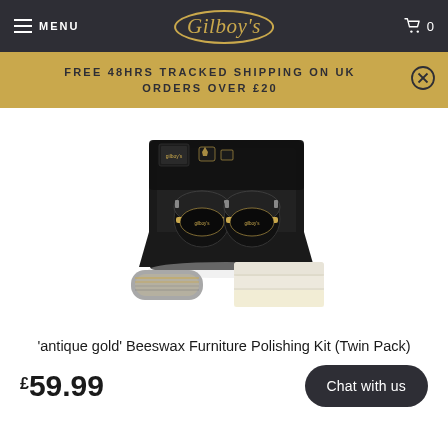MENU | Gilboy's | 0
FREE 48HRS TRACKED SHIPPING ON UK ORDERS OVER £20
[Figure (photo): Product photo of 'antique gold' Beeswax Furniture Polishing Kit (Twin Pack) in a black gift box with two glass jars, a grey applicator pad, and cream folded cloths]
'antique gold' Beeswax Furniture Polishing Kit (Twin Pack)
£59.99